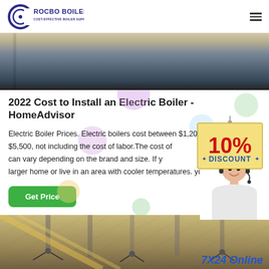ROCBO BOILER - COST-EFFECTIVE BOILER SUPPLIER
[Figure (photo): Interior hallway or gym room photo at top of page]
2022 Cost to Install an Electric Boiler - HomeAdvisor
Electric Boiler Prices. Electric boilers cost between $1,200 and $5,500, not including the cost of labor.The cost of er can vary depending on the brand and size. If y larger home or live in an area with cooler temperatures, you'll ne...
[Figure (illustration): 10% DISCOUNT promotional badge/tag overlay]
[Figure (photo): Customer service representative woman wearing headset]
Get Price
[Figure (photo): Bottom banner image showing industrial/construction ceiling with hanging fixtures]
7X24 Online